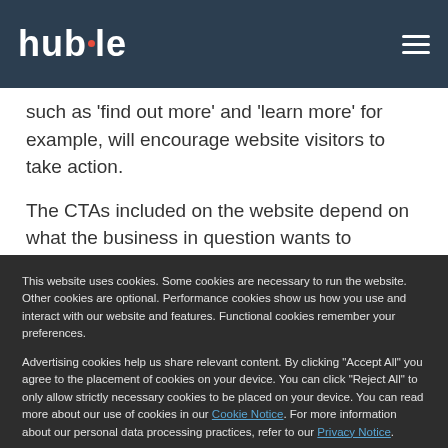huble
such as 'find out more' and 'learn more' for example, will encourage website visitors to take action.
The CTAs included on the website depend on what the business in question wants to achieve – whether that's
This website uses cookies. Some cookies are necessary to run the website. Other cookies are optional. Performance cookies show us how you use and interact with our website and features. Functional cookies remember your preferences.

Advertising cookies help us share relevant content. By clicking "Accept All" you agree to the placement of cookies on your device. You can click "Reject All" to only allow strictly necessary cookies to be placed on your device. You can read more about our use of cookies in our Cookie Notice. For more information about our personal data processing practices, refer to our Privacy Notice.

If you decline, your information won't be tracked when you visit this website. A single cookie will be used in your browser to remember your preference not to be tracked.
Cookies settings
Accept All
Decline All